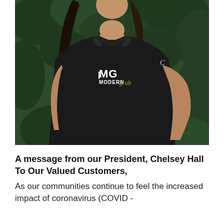[Figure (photo): A woman wearing a black polo shirt with 'MG Modern Grub' logo embroidered on the chest and a Champion logo on the sleeve. She has dark curly hair and is standing outdoors with green foliage in the background.]
A message from our President, Chelsey Hall To Our Valued Customers,
As our communities continue to feel the increased impact of coronavirus (COVID -